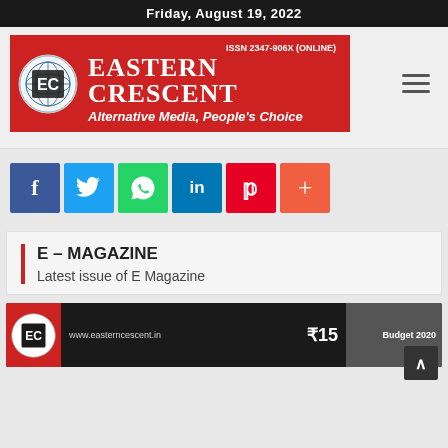Friday, August 19, 2022
[Figure (logo): Eastern Crescent magazine logo banner with EC circular emblem, text EASTERN CRESCENT, ISSN 2347-906X (ONLINE), tagline Alternative Media, People's Choice on red background]
[Figure (infographic): Social media share buttons: Facebook (blue), Twitter (light blue), WhatsApp (green), LinkedIn (dark blue), Pinterest (red), Plus/More (orange-red)]
E – MAGAZINE
Latest issue of E Magazine
[Figure (screenshot): Magazine preview thumbnail showing EC logo, website www.easterncescent.in, price ₹15, and Budget 2020 label on dark background]